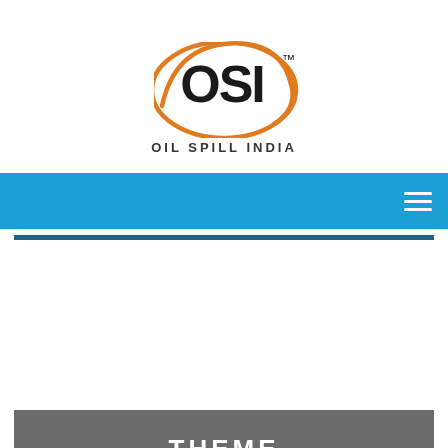[Figure (logo): OSI Oil Spill India logo — bold black OSI text inside an orange oval arc, with TM superscript, and 'OIL SPILL INDIA' text below in spaced caps]
[Figure (screenshot): Blue navigation bar with hamburger menu icon (three white horizontal lines) on the right]
[Figure (other): Teal/dark blue horizontal divider line]
THEME